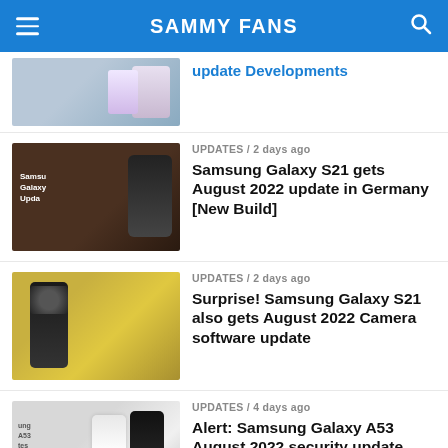SAMMY FANS
update Developments
UPDATES / 2 days ago
Samsung Galaxy S21 gets August 2022 update in Germany [New Build]
UPDATES / 2 days ago
Surprise! Samsung Galaxy S21 also gets August 2022 Camera software update
UPDATES / 4 days ago
Alert: Samsung Galaxy A53 August 2022 security update released in Europe
UPDATES / 4 days ago
Samsung Galaxy S20 FE 2nd August 2022 update brings bug fixes